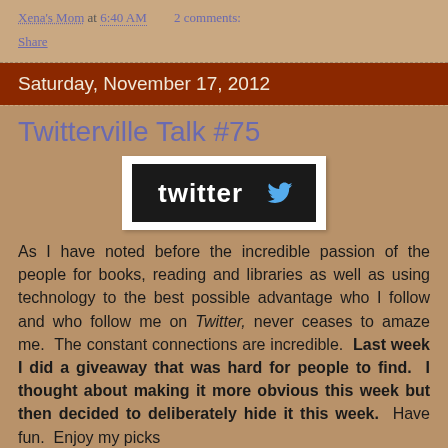Xena's Mom at 6:40 AM   2 comments:
Share
Saturday, November 17, 2012
Twitterville Talk #75
[Figure (logo): Twitter logo — white 'twitter' text with bird icon on black background]
As I have noted before the incredible passion of the people for books, reading and libraries as well as using technology to the best possible advantage who I follow and who follow me on Twitter, never ceases to amaze me.  The constant connections are incredible.  Last week I did a giveaway that was hard for people to find.  I thought about making it more obvious this week but then decided to deliberately hide it this week.  Have fun.  Enjoy my picks